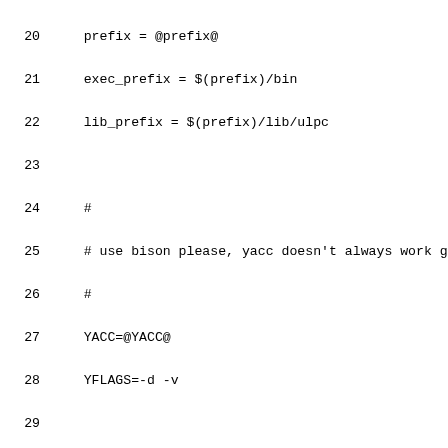20    prefix = @prefix@
21    exec_prefix = $(prefix)/bin
22    lib_prefix = $(prefix)/lib/ulpc
23
24    #
25    # use bison please, yacc doesn't always work good e
26    #
27    YACC=@YACC@
28    YFLAGS=-d -v
29
30    # If you don't have 'strchr', then add next flag to
31    # -Dstrchr=index -Dstrrchr=rindex
32    #
33    PROFIL=
34    #PROFIL=-pg
35
36    #
37    #Enable warnings from the compiler, if wanted.
38    #
39    WARN=@WARN@
40    #WARN=-W -Wunused -Wformat
41    #WARN -Wunused -Wformat -Wuninitialized
42    #WARN= -Wall -Wshadow -Dlint
43
44    #add extra defines here
45    # Be sure to use -g and -DDEBUG when looking for bu
46    DEFINES=-DDEBUG -DDEFAULT_MASTER="$(lib_prefix)/ma